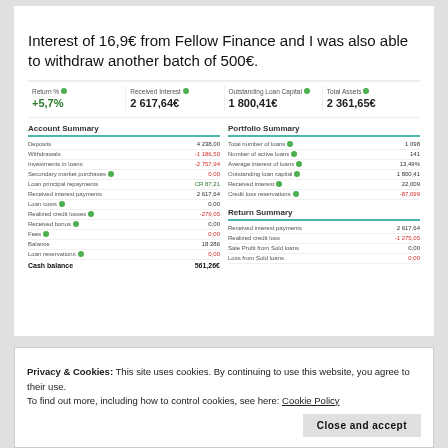Interest of 16,9€ from Fellow Finance and I was also able to withdraw another batch of 500€.
| Return % | Received Interest | Outstanding Loan Capital | Total Assets |
| --- | --- | --- | --- |
| +5,7% | 2 617,64€ | 1 800,41€ | 2 361,65€ |
Account Summary
| Item | Value |
| --- | --- |
| Deposits | 4 238,00 |
| Withdrawals | -1 186,50 |
| Investments in loans | -2 757,94 |
| Secondary market purchases | 0,00 |
| Loan principal repayments | CR 87,21 |
| Received interest payments | 2 617,64 |
| Loan costs | 0,00 |
| Realized credit losses | -279,05 |
| Received bonus | 0,00 |
| Fees | 0,00 |
| Balance | 18 286 |
| Loan reservations | 0,00 |
| Cash balance | 561,26€ |
Portfolio Summary
| Item | Value |
| --- | --- |
| Total number of loans | 1 098 |
| Number of active loans | 141 |
| Average interest of loans | 13,49% |
| Outstanding loan capital | 1 800,41 |
| Received interest | 22,009 |
| Credit loss reservations | -87,099 |
Return Summary
| Item | Value |
| --- | --- |
| Received interest payments | 2 617,64 |
| Realized credit loss | -1 275,05 |
| Sale Profit from Sold loans | 0,00 |
| Loss from Sold loans | 0,00 |
Privacy & Cookies: This site uses cookies. By continuing to use this website, you agree to their use.
To find out more, including how to control cookies, see here: Cookie Policy
Close and accept